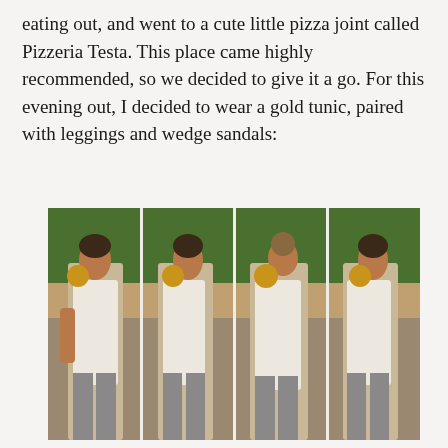eating out, and went to a cute little pizza joint called Pizzeria Testa. This place came highly recommended, so we decided to give it a go. For this evening out, I decided to wear a gold tunic, paired with leggings and wedge sandals:
[Figure (photo): A four-panel photo collage showing a woman wearing a white/cream sleeveless tunic top, grey leggings, and large gold hoop/disc earrings, posed in four different angles (front, side, back, three-quarter) outdoors with green shrubs in the background.]